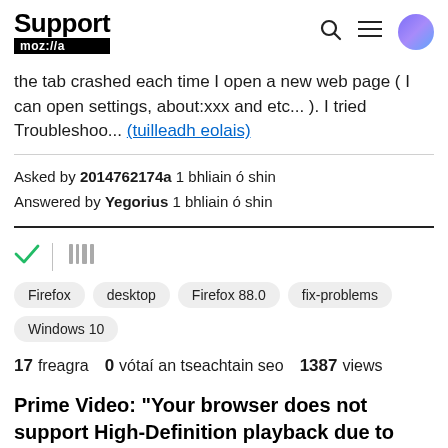Support mozilla
the tab crashed each time I open a new web page ( I can open settings, about:xxx and etc... ). I tried Troubleshoo... (tuilleadh eolais)
Asked by 2014762174a 1 bhliain ó shin
Answered by Yegorius 1 bhliain ó shin
[Figure (other): Check mark icon and library/bookmark icon]
Firefox
desktop
Firefox 88.0
fix-problems
Windows 10
17 freagra   0 vótaí an tseachtain seo   1387 views
Prime Video: "Your browser does not support High-Definition playback due to content restrictions"